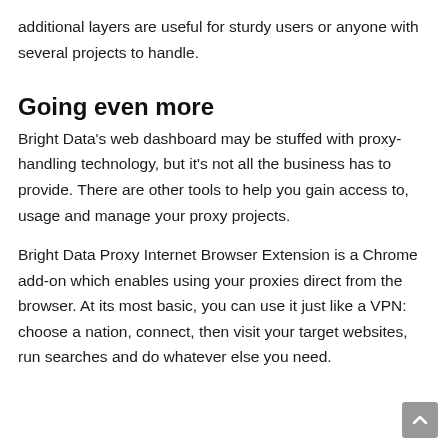additional layers are useful for sturdy users or anyone with several projects to handle.
Going even more
Bright Data's web dashboard may be stuffed with proxy-handling technology, but it's not all the business has to provide. There are other tools to help you gain access to, usage and manage your proxy projects.
Bright Data Proxy Internet Browser Extension is a Chrome add-on which enables using your proxies direct from the browser. At its most basic, you can use it just like a VPN: choose a nation, connect, then visit your target websites, run searches and do whatever else you need.